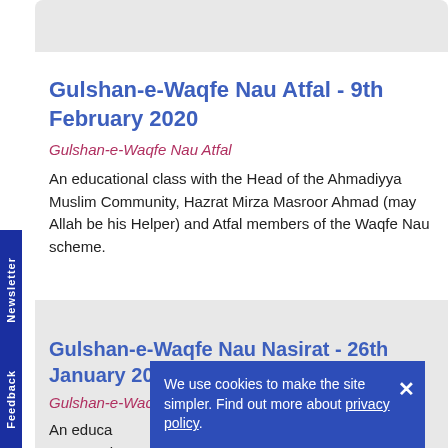Gulshan-e-Waqfe Nau Atfal - 9th February 2020
Gulshan-e-Waqfe Nau Atfal
An educational class with the Head of the Ahmadiyya Muslim Community, Hazrat Mirza Masroor Ahmad (may Allah be his Helper) and Atfal members of the Waqfe Nau scheme.
Gulshan-e-Waqfe Nau Nasirat - 26th January 2020
Gulshan-e-Waqfe Nau Nasirat
An educa... Community, Hazrat Mirza Masroor Ahmad (may Allah be his
We use cookies to make the site simpler. Find out more about privacy policy.